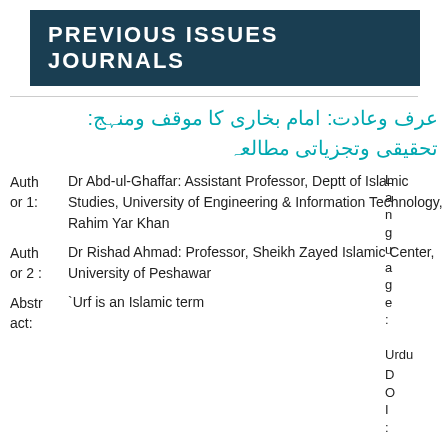PREVIOUS ISSUES JOURNALS
عرف وعادت: امام بخاری کا موقف ومنہج: تحقیقی وتجزیاتی مطالعہ
Author 1: Dr Abd-ul-Ghaffar: Assistant Professor, Deptt of Islamic Studies, University of Engineering & Information Technology, Rahim Yar Khan
Author 2: Dr Rishad Ahmad: Professor, Sheikh Zayed Islamic Center, University of Peshawar
Abstract: `Urf is an Islamic term
Language: Urdu
DOI:
P 01-10 a